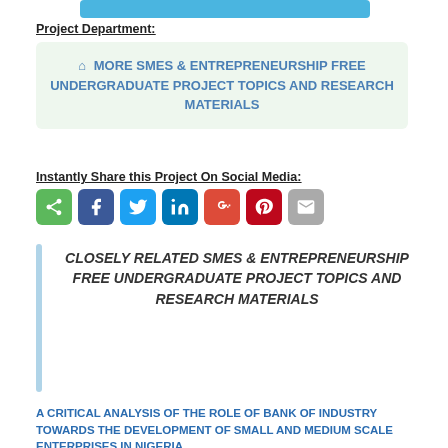[Figure (other): Light blue bar at top of page]
Project Department:
🏠 MORE SMES & ENTREPRENEURSHIP FREE UNDERGRADUATE PROJECT TOPICS AND RESEARCH MATERIALS
Instantly Share this Project On Social Media:
[Figure (other): Social media share buttons: share, Facebook, Twitter, LinkedIn, Google+, Pinterest, Email]
CLOSELY RELATED SMES & ENTREPRENEURSHIP FREE UNDERGRADUATE PROJECT TOPICS AND RESEARCH MATERIALS
A CRITICAL ANALYSIS OF THE ROLE OF BANK OF INDUSTRY TOWARDS THE DEVELOPMENT OF SMALL AND MEDIUM SCALE ENTERPRISES IN NIGERIA